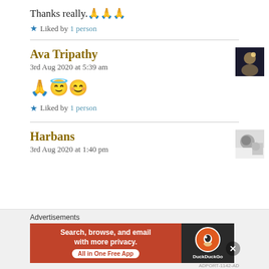Thanks really. 🙏🙏🙏
★ Liked by 1 person
Ava Tripathy
3rd Aug 2020 at 5:39 am
🙏😇😊
★ Liked by 1 person
Harbans
3rd Aug 2020 at 1:40 pm
Advertisements
[Figure (other): DuckDuckGo advertisement banner: Search, browse, and email with more privacy. All in One Free App]